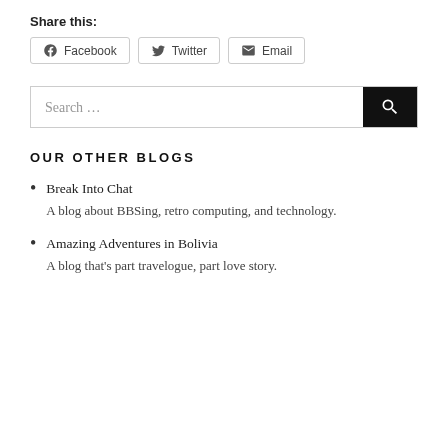Share this:
Facebook  Twitter  Email
Search …
OUR OTHER BLOGS
Break Into Chat
A blog about BBSing, retro computing, and technology.
Amazing Adventures in Bolivia
A blog that's part travelogue, part love story.